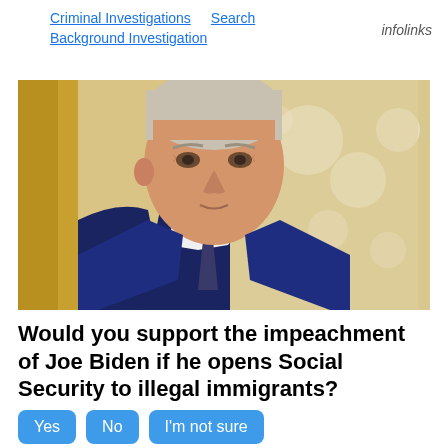Criminal Investigations   Search   Background Investigation   infolinks
[Figure (photo): Photograph of Joe Biden in a dark navy suit and tie, standing indoors in an ornate room with golden curtains and bokeh lighting in the background.]
Would you support the impeachment of Joe Biden if he opens Social Security to illegal immigrants?
Yes   No   I'm not sure